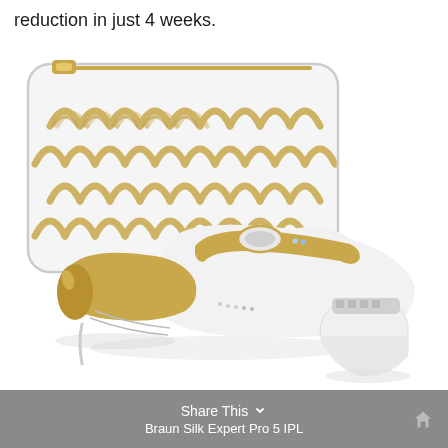reduction in just 4 weeks.
[Figure (photo): Braun Silk Expert Pro 5 IPL device in white and gold finish, shown with a decorative white and gold patterned carrying case and a separate facial attachment]
Share This  Braun Silk Expert Pro 5 IPL